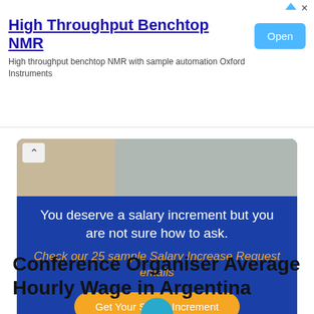[Figure (other): Advertisement banner for High Throughput Benchtop NMR by Oxford Instruments with Open button]
[Figure (infographic): Blue promotional card with photo, text 'You deserve a salary increment but you are not sure how to ask. Check our 25 sample Salary Increase Request emails' and button 'Get Your Salary Increment']
Conference Organiser Average Hourly Wage in Argentina